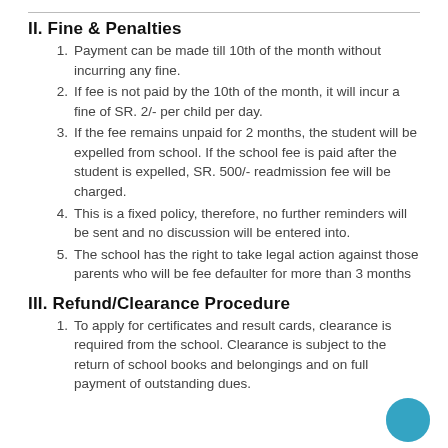II. Fine & Penalties
Payment can be made till 10th of the month without incurring any fine.
If fee is not paid by the 10th of the month, it will incur a fine of SR. 2/- per child per day.
If the fee remains unpaid for 2 months, the student will be expelled from school. If the school fee is paid after the student is expelled, SR. 500/- readmission fee will be charged.
This is a fixed policy, therefore, no further reminders will be sent and no discussion will be entered into.
The school has the right to take legal action against those parents who will be fee defaulter for more than 3 months
III. Refund/Clearance Procedure
To apply for certificates and result cards, clearance is required from the school. Clearance is subject to the return of school books and belongings and on full payment of outstanding dues.